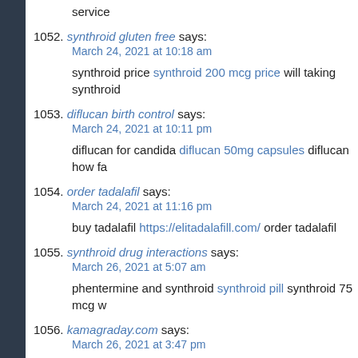service
1052. synthroid gluten free says:
March 24, 2021 at 10:18 am
synthroid price synthroid 200 mcg price will taking synthroid
1053. diflucan birth control says:
March 24, 2021 at 10:11 pm
diflucan for candida diflucan 50mg capsules diflucan how fa
1054. order tadalafil says:
March 24, 2021 at 11:16 pm
buy tadalafil https://elitadalafill.com/ order tadalafil
1055. synthroid drug interactions says:
March 26, 2021 at 5:07 am
phentermine and synthroid synthroid pill synthroid 75 mcg w
1056. kamagraday.com says:
March 26, 2021 at 3:47 pm